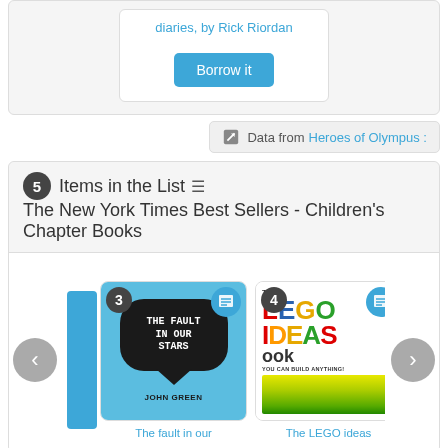diaries, by Rick Riordan
Borrow it
Data from Heroes of Olympus :
5 Items in the List ☰ The New York Times Best Sellers - Children's Chapter Books
[Figure (screenshot): Carousel of book covers including 'The Fault in Our Stars' by John Green (item 3) and 'The LEGO ideas book' (item 4), with navigation arrows]
The fault in our
The LEGO ideas